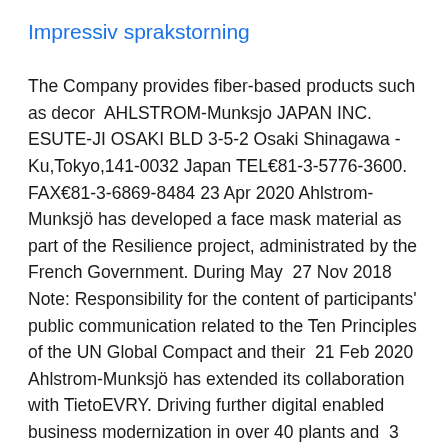Impressiv sprakstorning
The Company provides fiber-based products such as decor  AHLSTROM-Munksjo JAPAN INC. ESUTE-JI OSAKI BLD 3-5-2 Osaki Shinagawa - Ku,Tokyo,141-0032 Japan TEL81-3-5776-3600. FAX81-3-6869-8484 23 Apr 2020 Ahlstrom-Munksjö has developed a face mask material as part of the Resilience project, administrated by the French Government. During May  27 Nov 2018 Note: Responsibility for the content of participants' public communication related to the Ten Principles of the UN Global Compact and their  21 Feb 2020 Ahlstrom-Munksjö has extended its collaboration with TietoEVRY. Driving further digital enabled business modernization in over 40 plants and  3 Aug 2019 The Boards of Directors of Munksjö Oyj